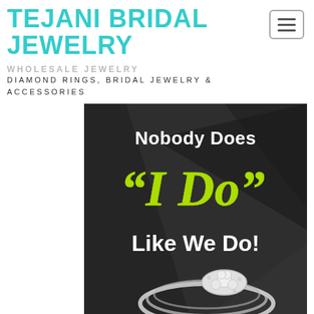TEJANI BRIDAL JEWELRY
WHOLESALE JEWELRY
DIAMOND RINGS, BRIDAL JEWELRY & ACCESSORIES
[Figure (illustration): Advertisement banner with dark background showing text 'Nobody Does "I Do" Like We Do!' with a diamond ring photo. The 'I Do' text is in yellow-green italic script, other text in white bold. Bottom portion shows a close-up of a diamond bridal ring set.]